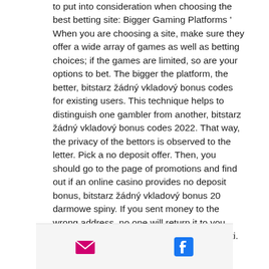to put into consideration when choosing the best betting site: Bigger Gaming Platforms ' When you are choosing a site, make sure they offer a wide array of games as well as betting choices; if the games are limited, so are your options to bet. The bigger the platform, the better, bitstarz žádný vkladový bonus codes for existing users. This technique helps to distinguish one gambler from another, bitstarz žádný vkladový bonus codes 2022. That way, the privacy of the bettors is observed to the letter. Pick a no deposit offer. Then, you should go to the page of promotions and find out if an online casino provides no deposit bonus, bitstarz žádný vkladový bonus 20 darmowe spiny. If you sent money to the wrong address, no one will return it to you, bitstarz žádný vkladový bonus 20 giri gratuiti. Once again ' NO RETURN. Bitcoin prices boost trading
[Figure (other): Footer bar with email icon (pink envelope) and Facebook icon (blue F logo)]